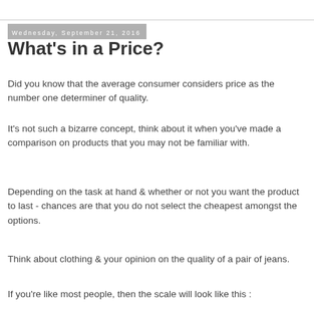Wednesday, September 21, 2016
What's in a Price?
Did you know that the average consumer considers price as the number one determiner of quality.
It's not such a bizarre concept, think about it when you've made a comparison on products that you may not be familiar with.
Depending on the task at hand & whether or not you want the product to last - chances are that you do not select the cheapest amongst the options.
Think about clothing & your opinion on the quality of a pair of jeans.
If you're like most people, then the scale will look like this :